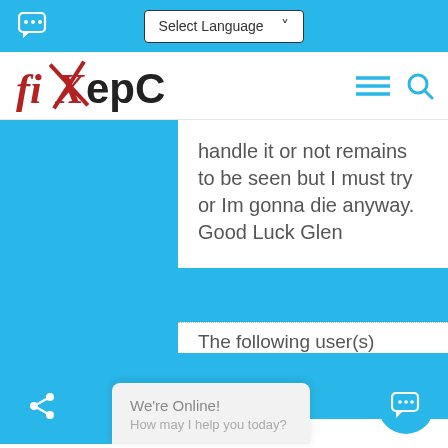[Figure (screenshot): Top navigation bar with chat bubble icon on left, 'Select Language' dropdown in center, on cyan/blue background]
[Figure (logo): fixHepC logo with red crossed-out X and stylized text]
handle it or not remains to be seen but I must try or Im gonna die anyway. Good Luck Glen
The following user(s)
We're Online! How may I help you today?
GT2, htz